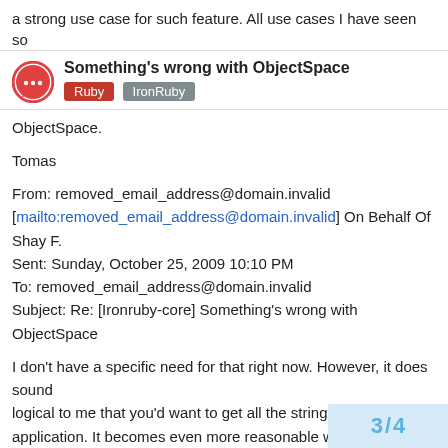a strong use case for such feature. All use cases I have seen so
Something's wrong with ObjectSpace
Ruby   IronRuby
ObjectSpace.
Tomas
From: removed_email_address@domain.invalid [mailto:removed_email_address@domain.invalid] On Behalf Of Shay F.
Sent: Sunday, October 25, 2009 10:10 PM
To: removed_email_address@domain.invalid
Subject: Re: [Ironruby-core] Something's wrong with ObjectSpace
I don't have a specific need for that right now. However, it does sound
logical to me that you'd want to get all the strings in your application. It becomes even more reasonable when you run each_object
with Thread, to find out all defined. This dc
3 / 4